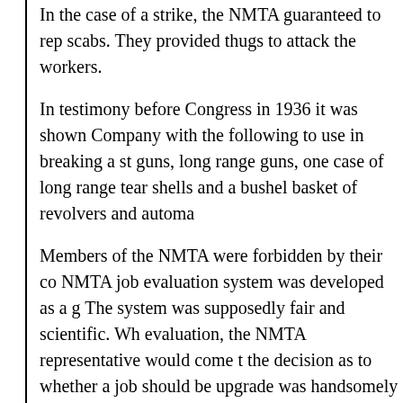In the case of a strike, the NMTA guaranteed to replace striking workers with scabs. They provided thugs to attack the workers.
In testimony before Congress in 1936 it was shown that the Company with the following to use in breaking a strike: short range guns, long range guns, one case of long range tear gas shells and a bushel basket of revolvers and automatics.
Members of the NMTA were forbidden by their contract to allow union. The NMTA job evaluation system was developed as a guide for wages. The system was supposedly fair and scientific. When there was an evaluation, the NMTA representative would come to make the decision as to whether a job should be upgraded or not. He was handsomely paid by the company.
MORE INFORMATION: